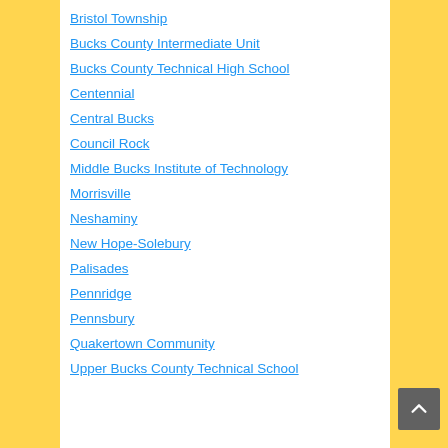Bristol Township
Bucks County Intermediate Unit
Bucks County Technical High School
Centennial
Central Bucks
Council Rock
Middle Bucks Institute of Technology
Morrisville
Neshaminy
New Hope-Solebury
Palisades
Pennridge
Pennsbury
Quakertown Community
Upper Bucks County Technical School